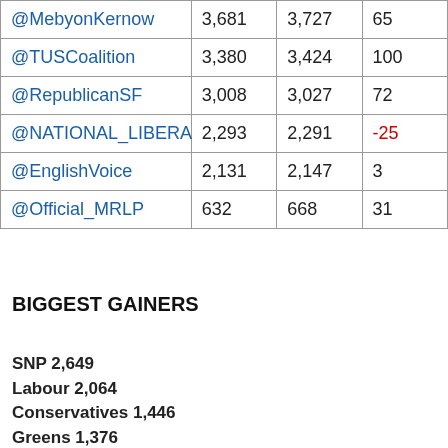| @MebyonKernow | 3,681 | 3,727 | 65 |
| @TUSCoalition | 3,380 | 3,424 | 100 |
| @RepublicanSF | 3,008 | 3,027 | 72 |
| @NATIONAL_LIBERA | 2,293 | 2,291 | -25 |
| @EnglishVoice | 2,131 | 2,147 | 3 |
| @Official_MRLP | 632 | 668 | 31 |
BIGGEST GAINERS
SNP 2,649
Labour 2,064
Conservatives 1,446
Greens 1,376
UKIP 1,156
Liberal Democrats 910
NHA PARTY 618
SSP 527